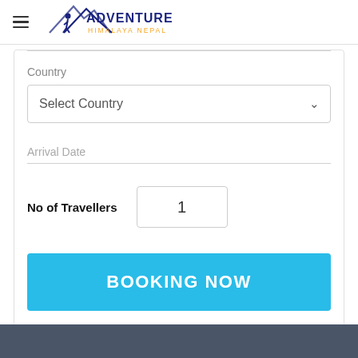[Figure (logo): Adventure Himalaya Nepal logo with mountain silhouette and hiker, blue and orange text]
Country
Select Country
Arrival Date
No of Travellers
1
BOOKING NOW